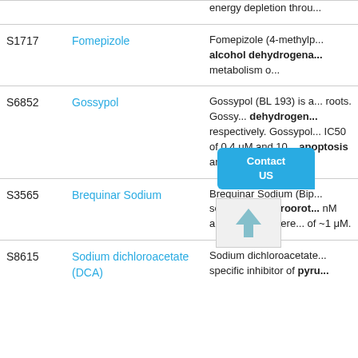| ID | Name | Description |
| --- | --- | --- |
|  |  | energy depletion throu... |
| S1717 | Fomepizole | Fomepizole (4-methylp... alcohol dehydrogena... metabolism o... |
| S6852 | Gossypol | Gossypol (BL 193) is a... roots. Gossy... dehydrogen... respectively. Gossypol... IC50 of 0.4 μM and 10... apoptosis and cell gro... |
| S3565 | Brequinar Sodium | Brequinar Sodium (Bip... selective dihydroorot... nM and triggers differe... of ~1 μM. |
| S8615 | Sodium dichloroacetate (DCA) | Sodium dichloroacetate... specific inhibitor of pyru... |